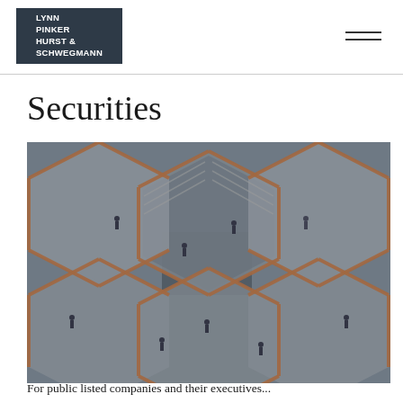LYNN PINKER HURST & SCHWEGMANN
Securities
[Figure (photo): Aerial view of an interconnected honeycomb-shaped staircase structure (The Vessel at Hudson Yards, NYC) with people walking on multiple levels]
For public listed companies and their executives...